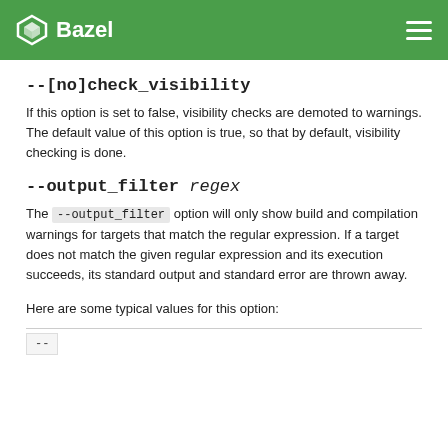Bazel
--[no]check_visibility
If this option is set to false, visibility checks are demoted to warnings. The default value of this option is true, so that by default, visibility checking is done.
--output_filter regex
The --output_filter option will only show build and compilation warnings for targets that match the regular expression. If a target does not match the given regular expression and its execution succeeds, its standard output and standard error are thrown away.
Here are some typical values for this option:
| -- |  |
| --- | --- |